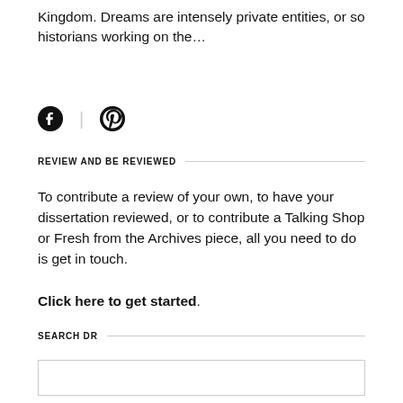Kingdom. Dreams are intensely private entities, or so historians working on the…
[Figure (other): Social media icons: Facebook and Pinterest]
REVIEW AND BE REVIEWED
To contribute a review of your own, to have your dissertation reviewed, or to contribute a Talking Shop or Fresh from the Archives piece, all you need to do is get in touch.
Click here to get started.
SEARCH DR